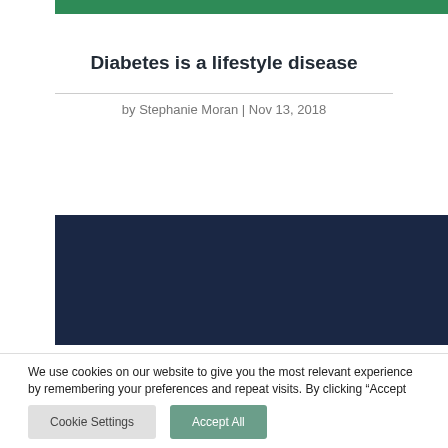Diabetes is a lifestyle disease
by Stephanie Moran | Nov 13, 2018
[Figure (photo): Dark navy/dark blue image block, likely a photo header for the article about diabetes as a lifestyle disease]
We use cookies on our website to give you the most relevant experience by remembering your preferences and repeat visits. By clicking "Accept All", you consent to the use of ALL the cookies. However, you may visit "Cookie Settings" to provide a controlled consent.